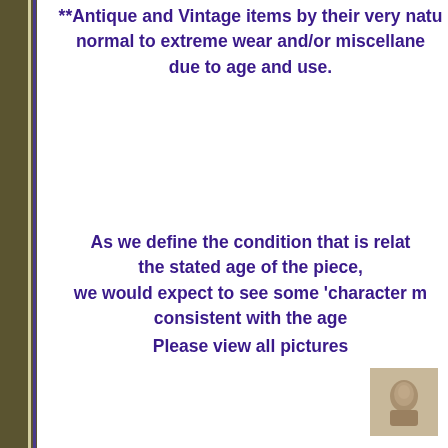**Antique and Vintage items by their very nature will have normal to extreme wear and/or miscellaneous markings due to age and use.
As we define the condition that is relative to the stated age of the piece, we would expect to see some 'character marks' consistent with the age
Please view all pictures
[Figure (photo): Small thumbnail photograph of an antique or vintage item, sepia/grayscale toned]